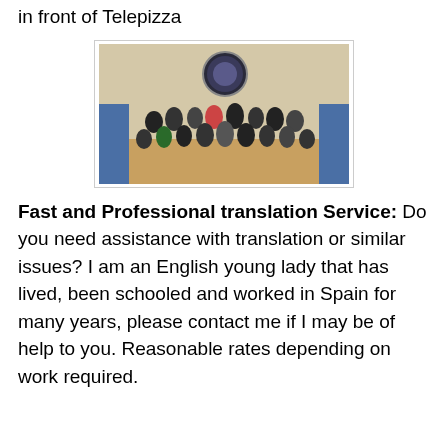Address: Mediterranean Avenue number 5, Nerja, in front of Telepizza
[Figure (photo): Group photo of people wearing masks in a gymnasium, with a circular logo/emblem on the wall behind them. People are dressed in casual/athletic wear.]
Fast and Professional translation Service: Do you need assistance with translation or similar issues? I am an English young lady that has lived, been schooled and worked in Spain for many years, please contact me if I may be of help to you. Reasonable rates depending on work required.